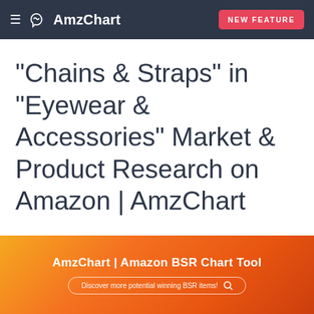≡  AmzChart  NEW FEATURE
"Chains & Straps" in "Eyewear & Accessories" Market & Product Research on Amazon | AmzChart
[Figure (infographic): Orange gradient banner with AmzChart Amazon BSR Chart Tool text and a search bar with 'Discover more potential winning BSR items!']